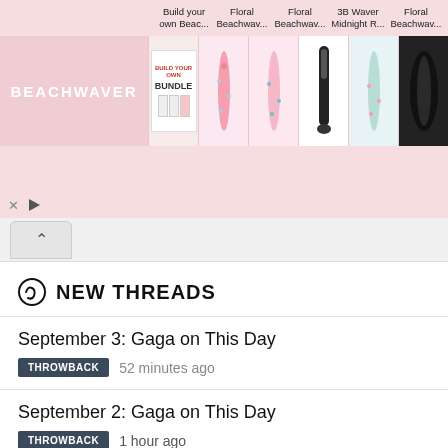[Figure (screenshot): Beachwaver advertisement banner showing product thumbnails: Build your own Beac..., Floral Beachwav..., Floral Beachwav..., 3B Waver Midnight R..., Floral Beachwav..., Half Up - Black]
NEW THREADS
September 3: Gaga on This Day — THROWBACK — 52 minutes ago
September 2: Gaga on This Day — THROWBACK — 1 hour ago
LG3 — QUESTION — 3 hours ago
Rita Ora's new album is coming in January